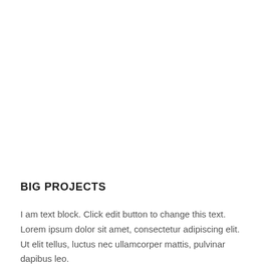BIG PROJECTS
I am text block. Click edit button to change this text. Lorem ipsum dolor sit amet, consectetur adipiscing elit. Ut elit tellus, luctus nec ullamcorper mattis, pulvinar dapibus leo.